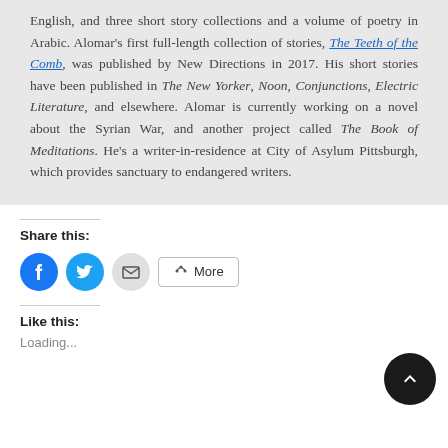English, and three short story collections and a volume of poetry in Arabic. Alomar's first full-length collection of stories, The Teeth of the Comb, was published by New Directions in 2017. His short stories have been published in The New Yorker, Noon, Conjunctions, Electric Literature, and elsewhere. Alomar is currently working on a novel about the Syrian War, and another project called The Book of Meditations. He's a writer-in-residence at City of Asylum Pittsburgh, which provides sanctuary to endangered writers.
Share this:
[Figure (infographic): Social share buttons: Facebook (blue circle), Twitter (cyan circle), Email (gray circle), and a More button with share icon]
Like this:
Loading...